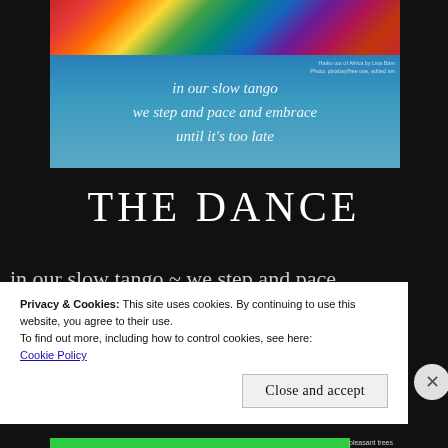[Figure (illustration): A decorative image block. Top half shows a colorful abstract/natural texture in reds, greens, blues. Bottom half is teal/blue with italic white poem text: 'in our slow tango / we step and pace and embrace / until it's too late'. A small watermark reads 'Haiku out of Africa by Lisa Bam' and a photo credit line.]
THE DANCE
in our slow tango ~ we step and pace and embrace ~ until it's too late — ©
Privacy & Cookies: This site uses cookies. By continuing to use this website, you agree to their use.
To find out more, including how to control cookies, see here:
Cookie Policy
Close and accept